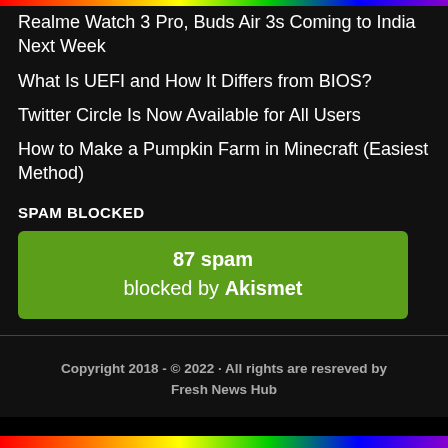Realme Watch 3 Pro, Buds Air 3s Coming to India Next Week
What Is UEFI and How It Differs from BIOS?
Twitter Circle Is Now Available for All Users
How to Make a Pumpkin Farm in Minecraft (Easiest Method)
SPAM BLOCKED
87 spam blocked by Akismet
Copyright 2018 - © 2022 · All rights are resreved by Fresh News Hub